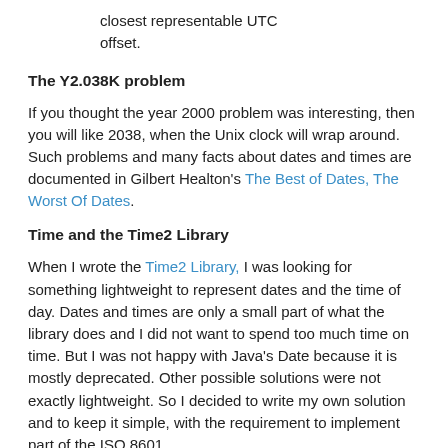closest representable UTC offset.
The Y2.038K problem
If you thought the year 2000 problem was interesting, then you will like 2038, when the Unix clock will wrap around. Such problems and many facts about dates and times are documented in Gilbert Healton's The Best of Dates, The Worst Of Dates.
Time and the Time2 Library
When I wrote the Time2 Library, I was looking for something lightweight to represent dates and the time of day. Dates and times are only a small part of what the library does and I did not want to spend too much time on time. But I was not happy with Java's Date because it is mostly deprecated. Other possible solutions were not exactly lightweight. So I decided to write my own solution and to keep it simple, with the requirement to implement part of the ISO 8601